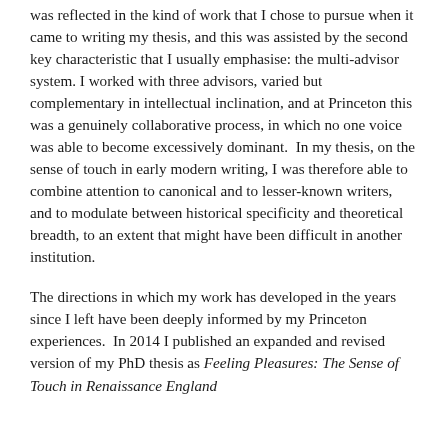was reflected in the kind of work that I chose to pursue when it came to writing my thesis, and this was assisted by the second key characteristic that I usually emphasise: the multi-advisor system. I worked with three advisors, varied but complementary in intellectual inclination, and at Princeton this was a genuinely collaborative process, in which no one voice was able to become excessively dominant.  In my thesis, on the sense of touch in early modern writing, I was therefore able to combine attention to canonical and to lesser-known writers, and to modulate between historical specificity and theoretical breadth, to an extent that might have been difficult in another institution.
The directions in which my work has developed in the years since I left have been deeply informed by my Princeton experiences.  In 2014 I published an expanded and revised version of my PhD thesis as Feeling Pleasures: The Sense of Touch in Renaissance England